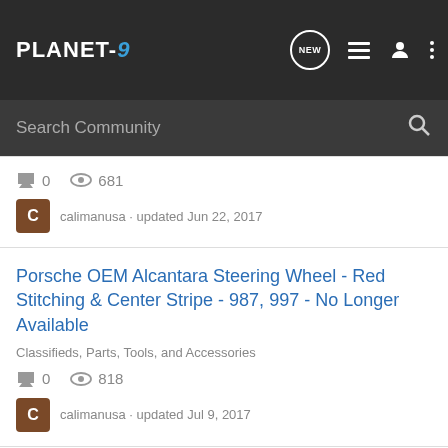PLANET-9 (community forum header with search bar)
0 replies · 681 views
calimanusa · updated Jun 22, 2017
Porsche OEM Alcantara Steering Wheel - Red Stitching & Center Stripe - 987, 997 - No Longer Available
Classifieds, Parts, Tools, and Accessories
0 replies · 818 views
calimanusa · updated Jul 9, 2017
Porsche OEM Alcantara Steering Wheel - Red Stitching & Center Stripe - 987, 997 - (truncated)